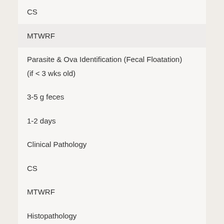CS
MTWRF
Parasite & Ova Identification (Fecal Floatation)
(if < 3 wks old)
3-5 g feces
1-2 days
Clinical Pathology
CS
MTWRF
Histopathology